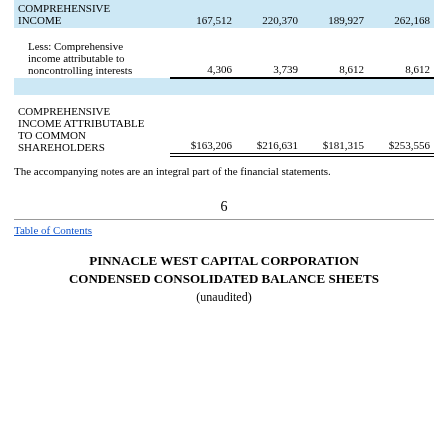|  |  |  |  |  |
| --- | --- | --- | --- | --- |
| COMPREHENSIVE INCOME | 167,512 | 220,370 | 189,927 | 262,168 |
| Less: Comprehensive income attributable to noncontrolling interests | 4,306 | 3,739 | 8,612 | 8,612 |
| COMPREHENSIVE INCOME ATTRIBUTABLE TO COMMON SHAREHOLDERS | $163,206 | $216,631 | $181,315 | $253,556 |
The accompanying notes are an integral part of the financial statements.
6
Table of Contents
PINNACLE WEST CAPITAL CORPORATION CONDENSED CONSOLIDATED BALANCE SHEETS
(unaudited)